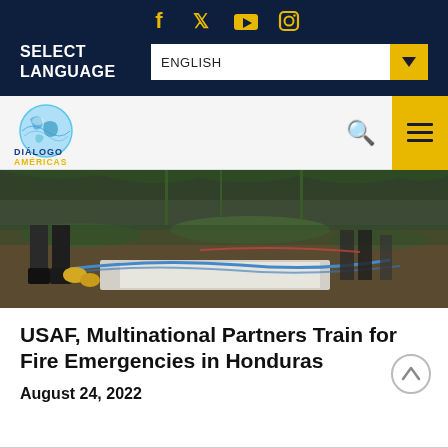Social icons: Facebook, Twitter, YouTube, Instagram
SELECT LANGUAGE
ENGLISH
[Figure (logo): Diálogo Américas globe logo with blue and yellow text]
[Figure (photo): Close-up of people's feet and hands on the ground working with equipment during a fire emergency training exercise, with grass and dirt visible]
USAF, Multinational Partners Train for Fire Emergencies in Honduras
August 24, 2022